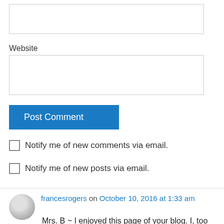[Figure (screenshot): Empty text input box at top of page]
Website
[Figure (screenshot): Empty website input box]
Post Comment
Notify me of new comments via email.
Notify me of new posts via email.
francesrogers on October 10, 2016 at 1:33 am
Mrs. B ~ I enjoyed this page of your blog. I, too am an avid reader; also an author. At the age of 77, after writing forty or so for use and republished